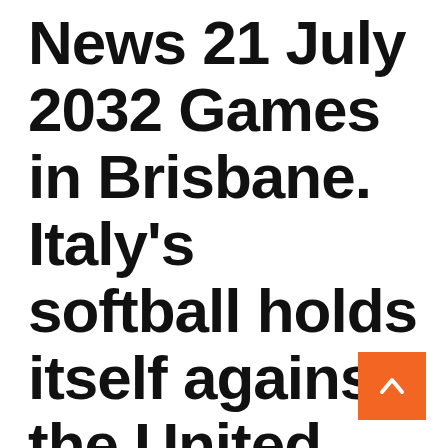News 21 July 2032 Games in Brisbane. Italy's softball holds itself against the United States – 0A O...